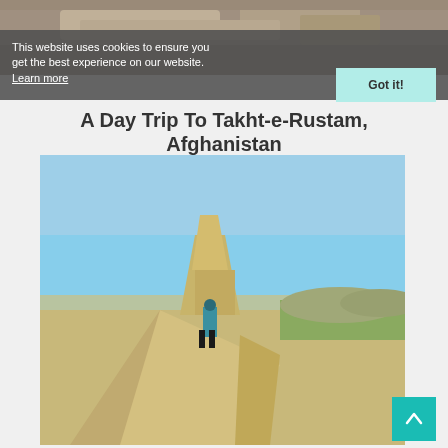[Figure (photo): Rocky landscape / archaeological site, partial view at top of page]
This website uses cookies to ensure you get the best experience on our website. Learn more
A Day Trip To Takht-e-Rustam, Afghanistan
[Figure (photo): A person standing atop a sandy mound near an ancient mud-brick or earthen pillar structure in an arid Afghan landscape under a clear blue sky]